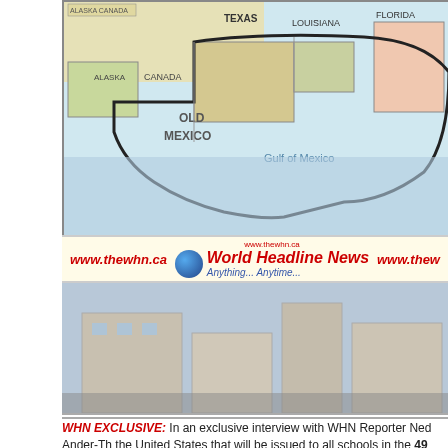[Figure (map): Map of the southern United States showing Texas, Louisiana, Florida, Alaska, Canada, Old Mexico label, Gulf of Mexico]
[Figure (logo): World Headline News banner: www.thewhn.ca, globe logo, 'World Headline News Anything... Anytime...' in red and blue italic]
[Figure (photo): Photo of a man (appears to be Trump) in a dark suit with red tie, profile view, with a tweet overlay box]
WHN EXCLUSIVE: In an exclusive interview with WHN Reporter Ned Ander-Th the United States that will be issued to all schools in the 49 States by Secretary Betsy DeVos will also redesign the American flag because, "IF Betsy Ross co Ander-Thal, World Headline News
[Figure (infographic): Tweet box: 'One Chief Executive Tweets I'm too incompetent* to successfully commit an impeachable offense; so re-elect me in 2021...' with WHN logo]
FUN F... The D...